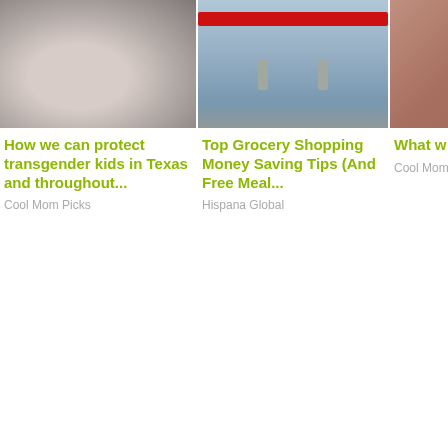[Figure (photo): Close-up photo of an animal (appears to be a pig or dog nose, pale pink/grey/white fur texture)]
How we can protect transgender kids in Texas and throughout...
Cool Mom Picks
[Figure (photo): Child in a shopping cart, wearing light blue top, with a red bar visible at the top of the cart]
Top Grocery Shopping Money Saving Tips (And Free Meal...
Hispana Global
[Figure (photo): Partial photo with warm brown/orange tones, partially cropped off the right edge]
What w Ukraine share,...
Cool Mom